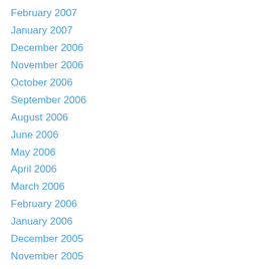February 2007
January 2007
December 2006
November 2006
October 2006
September 2006
August 2006
June 2006
May 2006
April 2006
March 2006
February 2006
January 2006
December 2005
November 2005
October 2005
September 2005
August 2005
July 2005